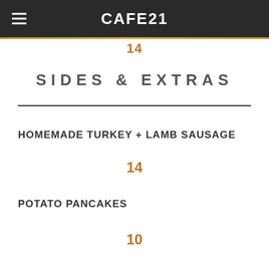CAFE21
14
SIDES & EXTRAS
HOMEMADE TURKEY + LAMB SAUSAGE
14
POTATO PANCAKES
10